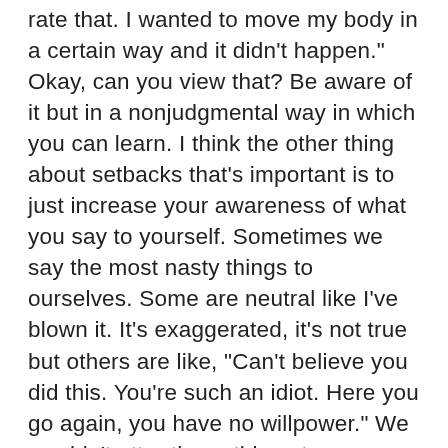rate that. I wanted to move my body in a certain way and it didn't happen." Okay, can you view that? Be aware of it but in a nonjudgmental way in which you can learn. I think the other thing about setbacks that's important is to just increase your awareness of what you say to yourself. Sometimes we say the most nasty things to ourselves. Some are neutral like I've blown it. It's exaggerated, it's not true but others are like, "Can't believe you did this. You're such an idiot. Here you go again, you have no willpower." We wouldn't utter those things to any other human being, but somehow we feel justified to say very nasty things to ourselves. If it helped it be one thing, it would still be in my mind unconscionable to talk to yourself that way. But the data are very clear, it doesn't help. It actually depletes